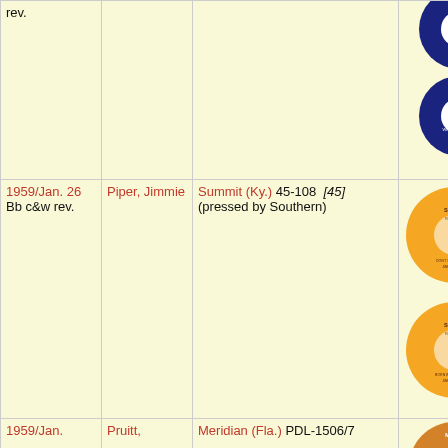| Date | Artist | Label/Catalog | Image |
| --- | --- | --- | --- |
| rev. |  |  | [record images: Bella label records] |
| 1959/Jan. 26
Bb c&w rev. | Piper, Jimmie | Summit (Ky.) 45-108 [45] (pressed by Southern) | [Summit Records label image] |
| 1959/Jan. | Pruitt, | Meridian (Fla.) PDL-1506/7 | [Meridian label image] |